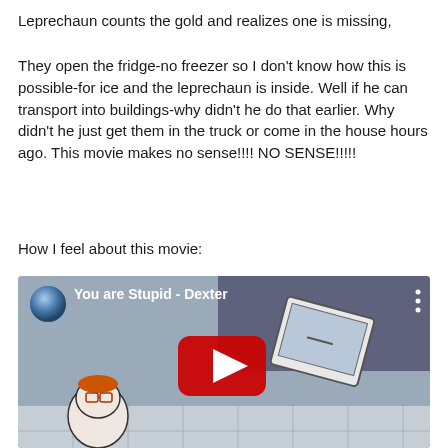Leprechaun counts the gold and realizes one is missing,
They open the fridge-no freezer so I don't know how this is possible-for ice and the leprechaun is inside. Well if he can transport into buildings-why didn't he do that earlier. Why didn't he just get them in the truck or come in the house hours ago. This movie makes no sense!!!! NO SENSE!!!!!
How I feel about this movie:
[Figure (screenshot): YouTube video thumbnail showing a Dexter's Laboratory cartoon clip titled 'You are Stupid - Dexter' with a red YouTube play button overlay]